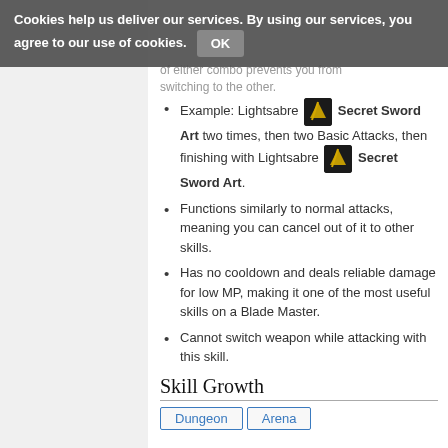Cookies help us deliver our services. By using our services, you agree to our use of cookies. OK
of either combo prevents you from switching to the other.
Example: Lightsabre [icon] Secret Sword Art two times, then two Basic Attacks, then finishing with Lightsabre [icon] Secret Sword Art.
Functions similarly to normal attacks, meaning you can cancel out of it to other skills.
Has no cooldown and deals reliable damage for low MP, making it one of the most useful skills on a Blade Master.
Cannot switch weapon while attacking with this skill.
Skill Growth
Dungeon  Arena